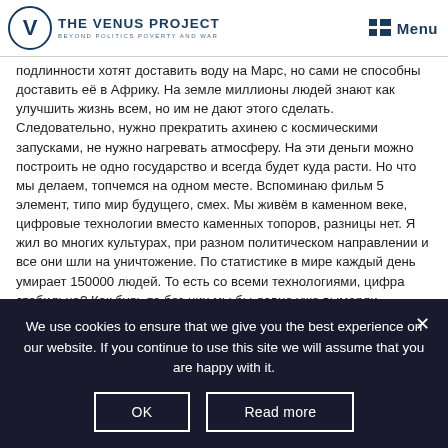THE VENUS PROJECT | BEYOND POLITICS POVERTY AND WAR | Menu
подлинности хотят доставить воду на Марс, но сами не способны доставить её в Африку. На земле миллионы людей знают как улучшить жизнь всем, но им не дают этого сделать. Следовательно, нужно прекратить ахинею с космическими запусками, не нужно нагревать атмосферу. На эти деньги можно построить не одно государство и всегда будет куда расти. Но что мы делаем, топчемся на одном месте. Вспоминаю фильм 5 элемент, типо мир будущего, смех. Мы живём в каменном веке, цифровые технологии вместо каменных топоров, разницы нет. Я жил во многих культурах, при разном политическом направлении и все они шли на уничтожение. По статистике в мире каждый день умирает 150000 людей. То есть со всеми технологиями, цифра стабильна? Как будь то без них мы бы давно уже вымерли. Следовательно, это направленная стабилизация ситуации. Это не допустимо. За проект Жака Фреско спасибо, я бы
We use cookies to ensure that we give you the best experience on our website. If you continue to use this site we will assume that you are happy with it.
OK
Read more